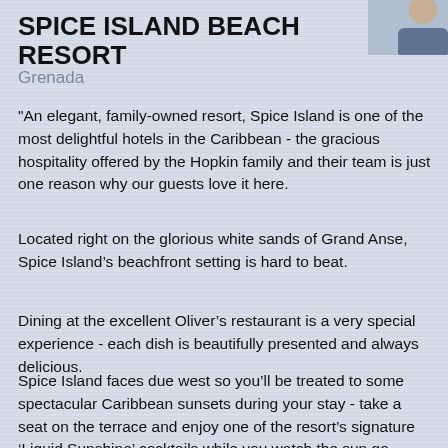[Figure (photo): Partial photo of a person visible in the top right corner of the page]
SPICE ISLAND BEACH RESORT
Grenada
"An elegant, family-owned resort, Spice Island is one of the most delightful hotels in the Caribbean - the gracious hospitality offered by the Hopkin family and their team is just one reason why our guests love it here.
Located right on the glorious white sands of Grand Anse, Spice Island’s beachfront setting is hard to beat.
Dining at the excellent Oliver’s restaurant is a very special experience - each dish is beautifully presented and always delicious.
Spice Island faces due west so you’ll be treated to some spectacular Caribbean sunsets during your stay - take a seat on the terrace and enjoy one of the resort’s signature ‘Liquid Sunshine’ cocktails while you watch the sun go down."